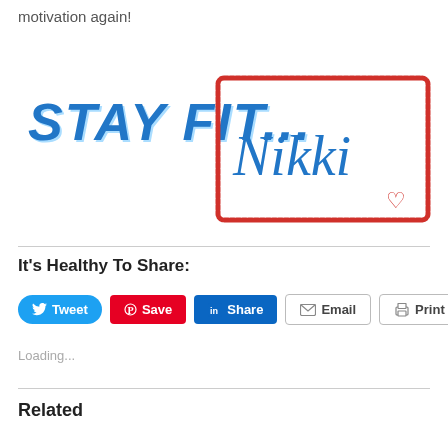motivation again!
[Figure (logo): Stay Fit... logo in bold blue block letters with star, alongside a hand-drawn red rectangle containing cursive blue signature 'Nikki' with a small red heart]
It's Healthy To Share:
[Figure (infographic): Row of social share buttons: Tweet (blue, Twitter bird icon), Save (red, Pinterest icon), Share (blue, LinkedIn icon), Email (grey outline, envelope icon), Print (grey outline, printer icon)]
Loading...
Related